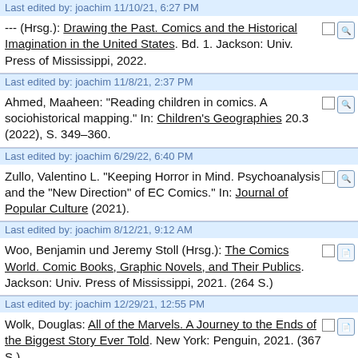Last edited by: joachim 11/10/21, 6:27 PM
--- (Hrsg.): Drawing the Past. Comics and the Historical Imagination in the United States. Bd. 1. Jackson: Univ. Press of Mississippi, 2022.
Last edited by: joachim 11/8/21, 2:37 PM
Ahmed, Maaheen: "Reading children in comics. A sociohistorical mapping." In: Children's Geographies 20.3 (2022), S. 349–360.
Last edited by: joachim 6/29/22, 6:40 PM
Zullo, Valentino L. "Keeping Horror in Mind. Psychoanalysis and the "New Direction" of EC Comics." In: Journal of Popular Culture (2021).
Last edited by: joachim 8/12/21, 9:12 AM
Woo, Benjamin und Jeremy Stoll (Hrsg.): The Comics World. Comic Books, Graphic Novels, and Their Publics. Jackson: Univ. Press of Mississippi, 2021. (264 S.)
Last edited by: joachim 12/29/21, 12:55 PM
Wolk, Douglas: All of the Marvels. A Journey to the Ends of the Biggest Story Ever Told. New York: Penguin, 2021. (367 S.)